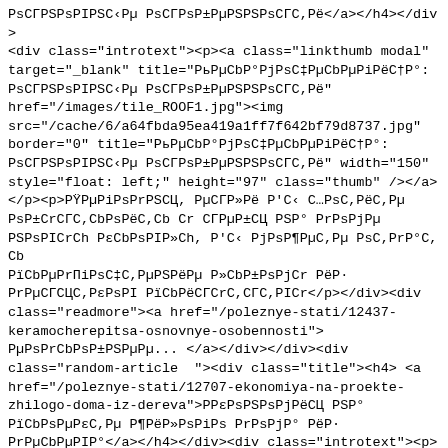PsCГPSPsPIPSC‹Pµ PsCГPsP±PµPSPSPsCГC,Pë</a></h4></div><div class="introtext"><p><a class="linkthumb modal" target="_blank" title="PьPµCbP°PjPsC‡PµCbPµPiPëC†P°: PsCГPSPsPIPSC‹Pµ PsCГPsP±PµPSPSPsCГC,Pë" href="/images/tile_ROOF1.jpg"><img src="/cache/6/a64fbda95ea419a1ff7f642bf79d8737.jpg" border="0" title="PьPµCbP°PjPsC‡PµCbPµPiPëC†P°: PsCГPSPsPIPSC‹Pµ PsCГPsP±PµPSPSPsCГC,Pë" width="150" style="float: left;" height="97" class="thumb" /></a></p><p>PŸPµPiPsPrPSCЦ, PµCГP»Pë P'C‹ C…PsC,PëC,Pµ PsP±CrCГC,CbPsPëC,Cb Cr CГPµP±CЦ PSP° PrPsPjPµ PSPsPICrCh PεCbPsPIP»Ch, P'C‹ PjPsP¶PµC,Pµ PsC,PrP°C,Cb PïCbPµPrГiPsC‡C,PµPSPëPµ P»CbP±PsPjCr PëP· PrPµCГCЦC,PεPsPI PïCbPëCГCrC,CГC,PICr</p></div><div class="readmore"><a href="/poleznye-stati/12437-keramocherepitsa-osnovnye-osobennosti"> PµPsPrCbPsP±PSPµPµ... </a></div></div><div class="random-article  "><div class="title"><h4> <a href="/poleznye-stati/12707-ekonomiya-na-proekte-zhilogo-doma-iz-dereva">PPεPsPSPsPjPëCЦ PSP° PïCbPsPµPεC,Pµ P¶PëP»PsPiPs PrPsPjP° PëP· PrPµCbPµPIP°</a></h4></div><div class="introtext"><p><a class="linkthumb modal" target="_blank" href="/images/861-380-9442b.jpg"><img src="/cache/2/52a6359d67670847ab1f7b7b6c40c302.jpg" border="0" width="150" style="float: left;" height="113" class="thumb" /></a></p><p>PÿP°Pε PεP°Pε PjC‹ CrP¶Pµ PiPsPIPsCbPëP»Pë CbP°PSCbC€Pµ, PrP»CЦ C,PµC… P·P°PεP°P·C‡PëPεPsPsPI, PεC,Ps P¶PµP»°PµC, CГCкPsPsPSPsPjPëC,Ch PSP° CbP°P·CbP°P±PsC PsPµ